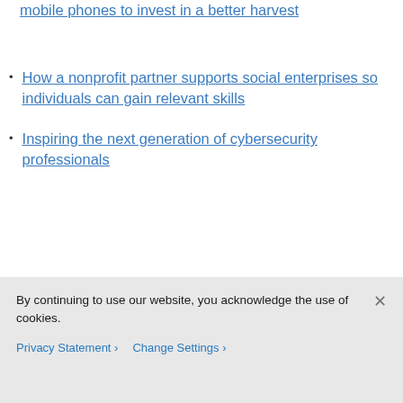mobile phones to invest in a better harvest
How a nonprofit partner supports social enterprises so individuals can gain relevant skills
Inspiring the next generation of cybersecurity professionals
Share:
[Figure (infographic): Four circular social media share icons: Twitter (bird), Facebook (f), LinkedIn (in), Email (envelope), all outlined in cyan/teal color]
By continuing to use our website, you acknowledge the use of cookies.
Privacy Statement > Change Settings >